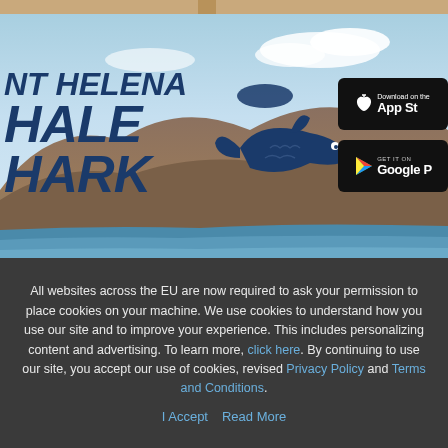[Figure (photo): Screenshot of St Helena Whale Shark app promotional banner showing text 'NT HELENA WHALE SHARK' with whale shark logo, App Store and Google Play download buttons, and a landscape/ocean background with rocky hills]
All websites across the EU are now required to ask your permission to place cookies on your machine. We use cookies to understand how you use our site and to improve your experience. This includes personalizing content and advertising. To learn more, click here. By continuing to use our site, you accept our use of cookies, revised Privacy Policy and Terms and Conditions.
I Accept   Read More